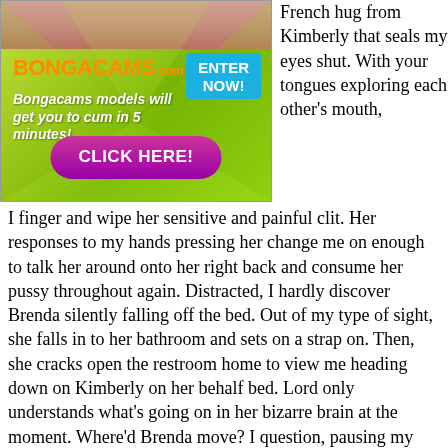[Figure (advertisement): Bongacams.com advertisement banner with green gradient background, logo in orange, blue ENTER NOW button, italic white tagline 'Bongacams models will get you to cum in 5 minutes!', and purple CLICK HERE! button]
French hug from Kimberly that seals my eyes shut. With your tongues exploring each other's mouth, I finger and wipe her sensitive and painful clit. Her responses to my hands pressing her change me on enough to talk her around onto her right back and consume her pussy throughout again. Distracted, I hardly discover Brenda silently falling off the bed. Out of my type of sight, she falls in to her bathroom and sets on a strap on. Then, she cracks open the restroom home to view me heading down on Kimberly on her behalf bed. Lord only understands what's going on in her bizarre brain at the moment. Where'd Brenda move? I question, pausing my tongue to glance around her bedroom. I think she gone downstairs to Sexcams Free be sure of the party, Kimberly fibs, unproductive me with her hands working through my hair. I believed Amber was catering the party, I comment, seeking up in to her bright,